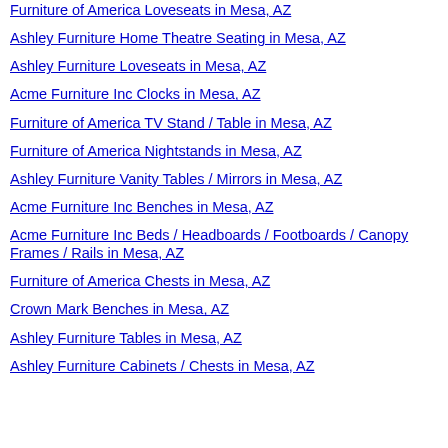Furniture of America Loveseats in Mesa, AZ
Ashley Furniture Home Theatre Seating in Mesa, AZ
Ashley Furniture Loveseats in Mesa, AZ
Acme Furniture Inc Clocks in Mesa, AZ
Furniture of America TV Stand / Table in Mesa, AZ
Furniture of America Nightstands in Mesa, AZ
Ashley Furniture Vanity Tables / Mirrors in Mesa, AZ
Acme Furniture Inc Benches in Mesa, AZ
Acme Furniture Inc Beds / Headboards / Footboards / Canopy Frames / Rails in Mesa, AZ
Furniture of America Chests in Mesa, AZ
Crown Mark Benches in Mesa, AZ
Ashley Furniture Tables in Mesa, AZ
Ashley Furniture Cabinets / Chests in Mesa, AZ